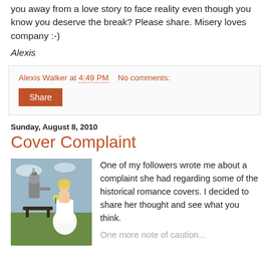you away from a love story to face reality even though you know you deserve the break? Please share. Misery loves company :-)
Alexis
Alexis Walker at 4:49 PM   No comments:
Share
Sunday, August 8, 2010
Cover Complaint
[Figure (photo): A woman in a white wedding dress standing next to a person in a knight's armor, outdoors on a grassy field.]
One of my followers wrote me about a complaint she had regarding some of the historical romance covers. I decided to share her thought and see what you think.
One more note of caution...